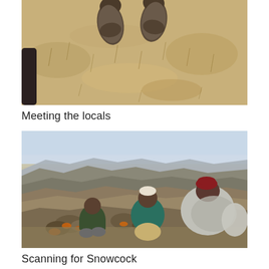[Figure (photo): Overhead view of feet/boots standing on dry, sandy ground with sparse dried grass. A dark shape visible at left edge.]
Meeting the locals
[Figure (photo): Three people sitting on a rocky mountain ridge looking out over a vast landscape of rolling arid mountains and plains. Person on left wears dark green jacket, person in middle wears teal jacket with white cap, person on right wears red beret and gray shawl/blanket.]
Scanning for Snowcock